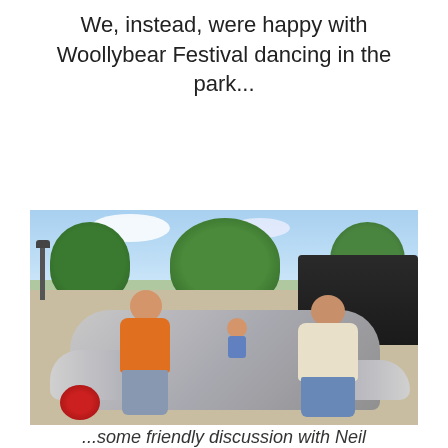We, instead, were happy with Woollybear Festival dancing in the park...
[Figure (photo): Outdoor photo of two men and a child posed next to a silver convertible car at the Woollybear Festival. A younger man in an orange shirt and plaid shorts stands on the left, an older man in a light yellow shirt and jeans stands on the right, and a young child is visible sitting in the car between them. Green trees, blue sky, a black SUV, and a park fence are visible in the background.]
...some friendly discussion with Neil